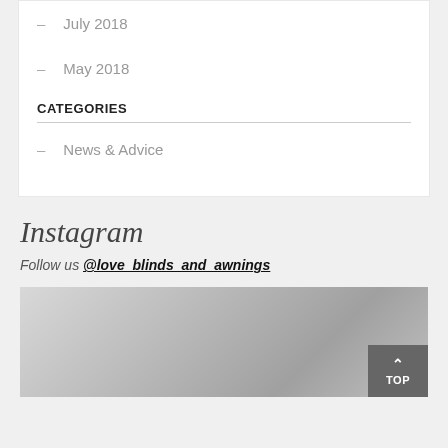– July 2018
– May 2018
CATEGORIES
– News & Advice
Instagram
Follow us @love_blinds_and_awnings
[Figure (photo): Interior room photo showing a wall and ceiling, partially visible, in grayscale tones.]